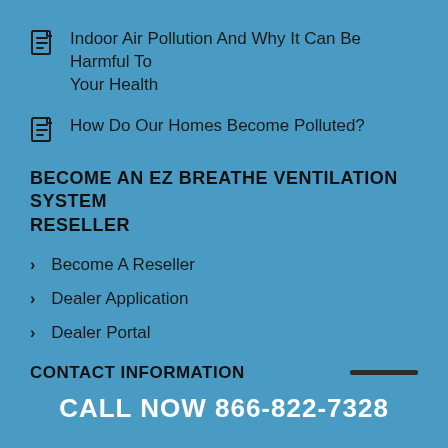Indoor Air Pollution And Why It Can Be Harmful To Your Health
How Do Our Homes Become Polluted?
BECOME AN EZ BREATHE VENTILATION SYSTEM RESELLER
Become A Reseller
Dealer Application
Dealer Portal
CONTACT INFORMATION
CALL NOW 866-822-7328